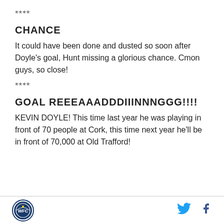****
CHANCE
It could have been done and dusted so soon after Doyle's goal, Hunt missing a glorious chance. Cmon guys, so close!
****
GOAL REEEAAADDDIIINNNGGG!!!!
KEVIN DOYLE! This time last year he was playing in front of 70 people at Cork, this time next year he'll be in front of 70,000 at Old Trafford!
Logo | Twitter | Facebook